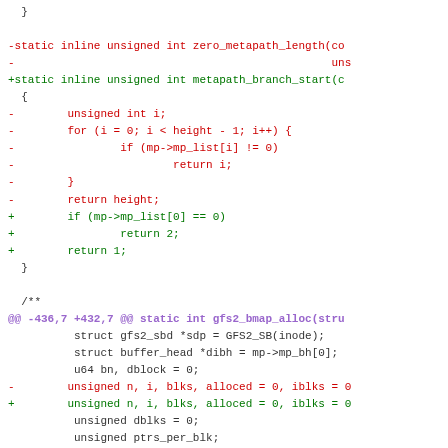[Figure (other): Source code diff showing changes to gfs2 kernel code. Removed function zero_metapath_length and added metapath_branch_start. Also shows changes to gfs2_bmap_alloc function.]